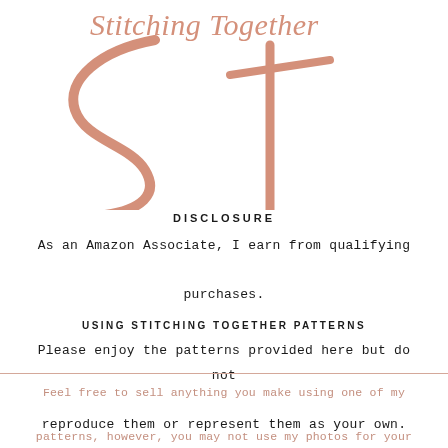[Figure (logo): Stitching Together cursive script logo in dusty rose/salmon color with large decorative 'ST' monogram letterform]
DISCLOSURE
As an Amazon Associate, I earn from qualifying purchases.
USING STITCHING TOGETHER PATTERNS
Please enjoy the patterns provided here but do not reproduce them or represent them as your own.
Feel free to sell anything you make using one of my patterns, however, you may not use my photos for your